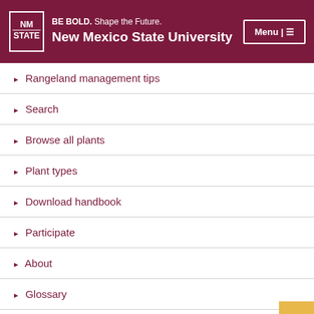BE BOLD. Shape the Future. New Mexico State University
Rangeland management tips
Search
Browse all plants
Plant types
Download handbook
Participate
About
Glossary
Credits